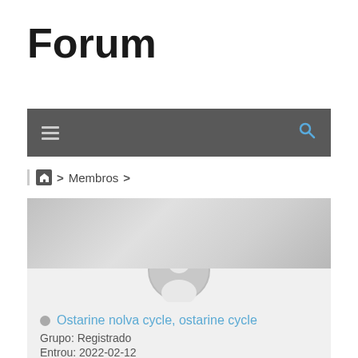Forum
[Figure (screenshot): Navigation bar with hamburger menu icon on left and search icon on right, dark gray background]
Home > Membros >
[Figure (screenshot): User profile card with gray banner, default avatar, username 'Ostarine nolva cycle, ostarine cycle', Group: Registrado, Entrou: 2022-02-12]
Ostarine nolva cycle, ostarine cycle
Grupo: Registrado
Entrou: 2022-02-12